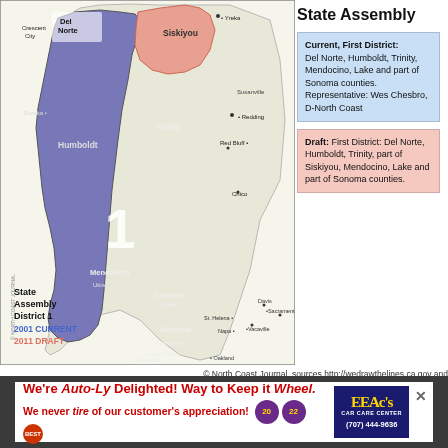[Figure (map): Map of California showing State Assembly District 1. The district is shaded in purple/blue for the 2001 current boundaries and salmon/orange for the 2011 draft boundaries. Counties labeled include Del Norte, Siskiyou, Humboldt, Trinity, Mendocino, Lake (Clearlake Lake), Sonoma, and others. Cities labeled include Crescent City, Yreka, Eureka, Redding, Red Bluff, Susanville, Chico, Ukiah, St. Helena, Davis, Sacramento, Napa, Vacaville, Santa Rosa, San Rafael, San Francisco, Oakland. The large number '1' appears in the center of the district. Text in bottom-left reads 'State Assembly District 1', '2001 CURRENT', '2011 DRAFT'. Watermark text 'NORTH COAST JOURNAL' appears vertically on left side.]
State Assembly
Current, First District: Del Norte, Humboldt, Trinity, Mendocino, Lake and part of Sonoma counties. Representative: Wes Chesbro, D-North Coast
Draft: First District: Del Norte, Humboldt, Trinity, part of Siskiyou, Mendocino, Lake and part of Sonoma counties.
© North Coast Journal. sources http://wedrawthelines.ca.gov and http://swdb.berkeley.edu/maps.html
Current Maps And Draft Redistricted Map (As of July 15, 2011)
[Figure (photo): Advertisement banner: 'We're Auto-Ly Delighted! Way to Keep it Wheel.' with EEAc's Car Care Center logo and phone number (707) 444-9636]